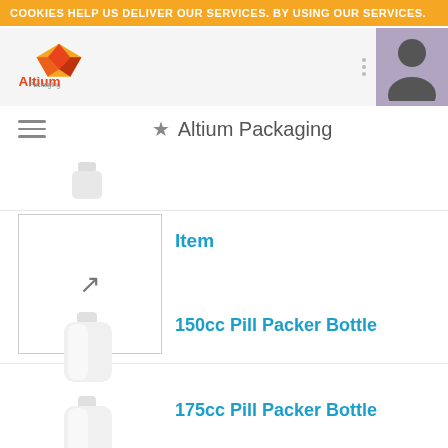COOKIES HELP US DELIVER OUR SERVICES. BY USING OUR SERVICES.
[Figure (logo): Altium Packaging logo with orange/red diamond shape and red Altium text]
Altium Packaging
Item
150cc Pill Packer Bottle
175cc Pill Packer Bottle